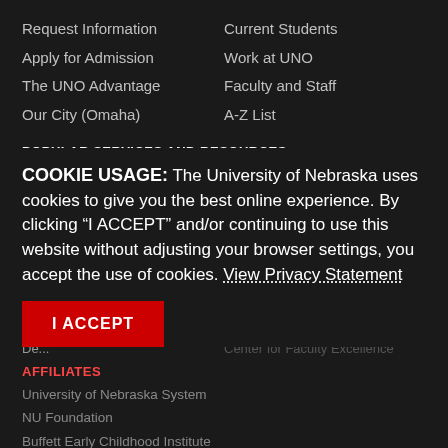Request Information
Current Students
Apply for Admission
Work at UNO
The UNO Advantage
Faculty and Staff
Our City (Omaha)
A-Z List
POPULAR SERVICES AND RESOURCES
COOKIE USAGE: The University of Nebraska uses cookies to give you the best online experience. By clicking “I ACCEPT” and/or continuing to use this website without adjusting your browser settings, you accept the use of cookies. View Privacy Statement
I ACCEPT
AFFILIATES
University of Nebraska System
NU Foundation
Buffett Early Childhood Institute
Daugherty Water for Food Institute